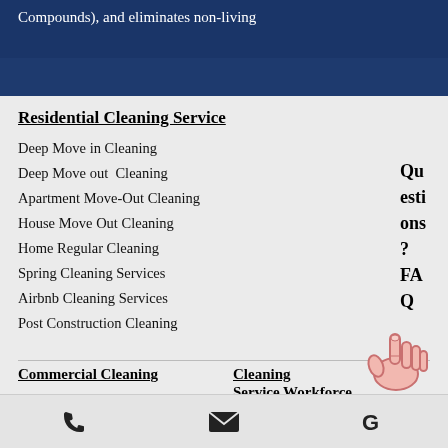Compounds), and eliminates non-living
Residential Cleaning Service
Deep Move in Cleaning
Deep Move out Cleaning
Apartment Move-Out Cleaning
House Move Out Cleaning
Home Regular Cleaning
Spring Cleaning Services
Airbnb Cleaning Services
Post Construction Cleaning
Questions? FAQ
Commercial Cleaning
Cleaning Service Workforce
Event Cleaning Service
Office Cleaning
Cleaning Service Careers
phone | email | G